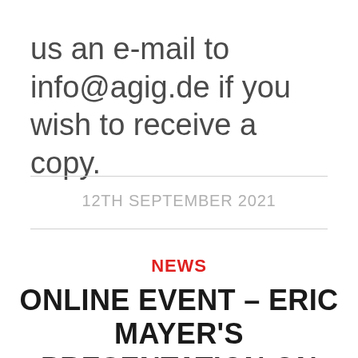us an e-mail to info@agig.de if you wish to receive a copy.
12TH SEPTEMBER 2021
NEWS
ONLINE EVENT – ERIC MAYER'S PRESENTATION ON CORPORATE